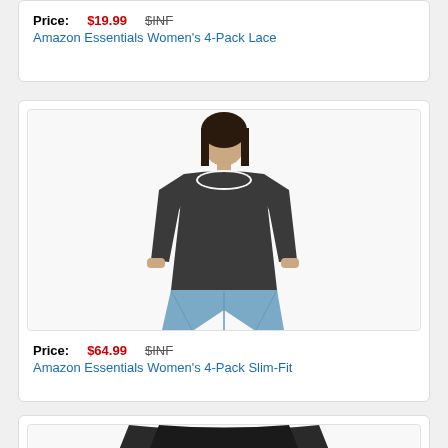Price: $19.99   $INF
Amazon Essentials Women's 4-Pack Lace
[Figure (photo): Woman wearing a dark charcoal 3/4 sleeve fitted scoop-neck top with light blue jeans]
Price: $64.99   $INF
Amazon Essentials Women's 4-Pack Slim-Fit
[Figure (photo): Partial view of dark clothing item at bottom of page]